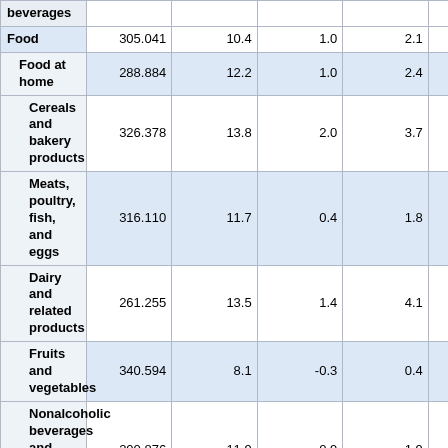| Category | Index | Col3 | Col4 | Col5 | Col6 | Col7 |
| --- | --- | --- | --- | --- | --- | --- |
| beverages |  |  |  |  |  |  |
| Food | 305.041 | 10.4 | 1.0 | 2.1 |  |  |
| Food at home | 288.884 | 12.2 | 1.0 | 2.4 | 254.790 | 1 |
| Cereals and bakery products | 326.378 | 13.8 | 2.0 | 3.7 |  |  |
| Meats, poultry, fish, and eggs | 316.110 | 11.7 | 0.4 | 1.8 |  |  |
| Dairy and related products | 261.255 | 13.5 | 1.4 | 4.1 |  |  |
| Fruits and vegetables | 340.594 | 8.1 | -0.3 | 0.4 |  |  |
| Nonalcoholic beverages and beverage materials(1) | 200.876 | 11.9 | 0.9 | 1.9 |  |  |
| Other food at home | 252.015 | 14.4 | 1.9 | 3.2 |  |  |